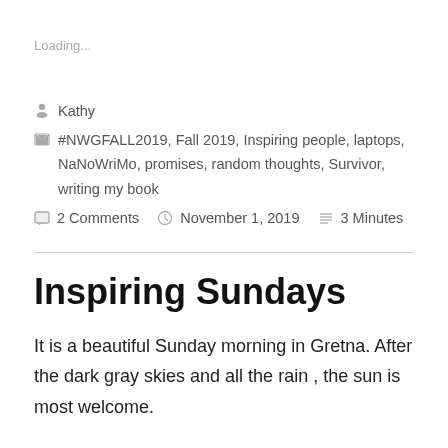Loading...
Kathy
#NWGFALL2019, Fall 2019, Inspiring people, laptops, NaNoWriMo, promises, random thoughts, Survivor, writing my book
2 Comments   November 1, 2019   3 Minutes
Inspiring Sundays
It is a beautiful Sunday morning in Gretna. After the dark gray skies and all the rain , the sun is most welcome.